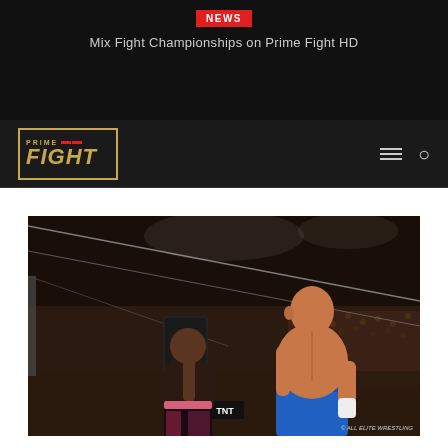NEWS
Mix Fight Championships on Prime Fight HD
[Figure (logo): Prime Fight logo in gold border with red accent bars]
[Figure (photo): Two wrestlers in a wrestling ring. Foreground: bald muscular man in blue shorts. Background: man in pink and black trunks. AEW branding visible on ring corner. Photo credit: © ALL ELITE WRESTLING]